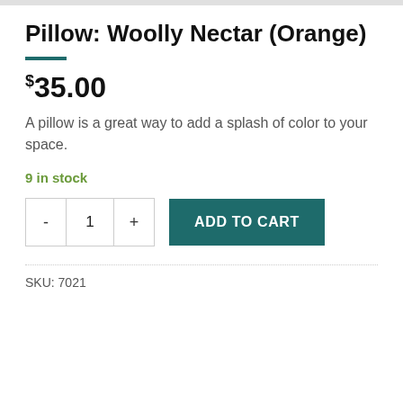Pillow: Woolly Nectar (Orange)
$35.00
A pillow is a great way to add a splash of color to your space.
9 in stock
ADD TO CART
SKU: 7021